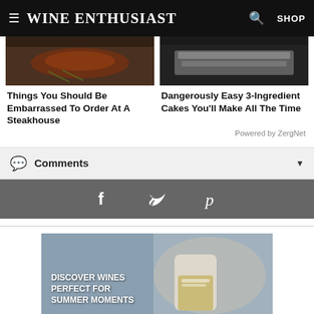Wine Enthusiast — SHOP
[Figure (photo): Food photo - steak dish on dark background]
Things You Should Be Embarrassed To Order At A Steakhouse
[Figure (photo): Food photo - cake with white topping on dark background]
Dangerously Easy 3-Ingredient Cakes You'll Make All The Time
Powered by ZergNet
Comments
[Figure (infographic): Social sharing bar with Facebook, Twitter, Pinterest icons]
[Figure (photo): Advertisement: Discover Wines Perfect For Summer Moments — person holding wine bottle]